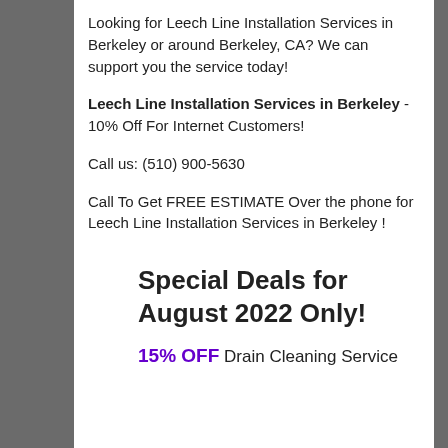Looking for Leech Line Installation Services in Berkeley or around Berkeley, CA? We can support you the service today!
Leech Line Installation Services in Berkeley - 10% Off For Internet Customers!
Call us: (510) 900-5630
Call To Get FREE ESTIMATE Over the phone for Leech Line Installation Services in Berkeley !
Special Deals for August 2022 Only!
15% OFF Drain Cleaning Service